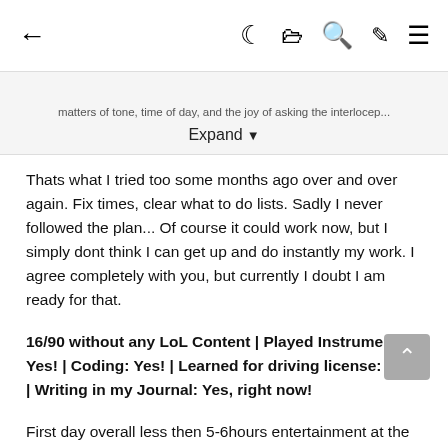← 🌙 📋 🔍 🖌 ≡
matters of tone, time of day, and the joy of asking the interlocep...
Expand ▾
Thats what I tried too some months ago over and over again. Fix times, clear what to do lists. Sadly I never followed the plan... Of course it could work now, but I simply dont think I can get up and do instantly my work. I agree completely with you, but currently I doubt I am ready for that.
16/90 without any LoL Content | Played Instrument: Yes! | Coding: Yes! | Learned for driving license: Yes! | Writing in my Journal: Yes, right now!
First day overall less then 5-6hours entertainment at the display. Still much, but compared to a "normal" day its ok I think. Woke up and usually grinded online. I set me a time when I wanted to start with my work and stop the computer grind till a specific time a evening. I think its nice for me to have done that today, usually when I tried that, I relapsed instantly at the same day. But all those new things I do help so much against boredom so it